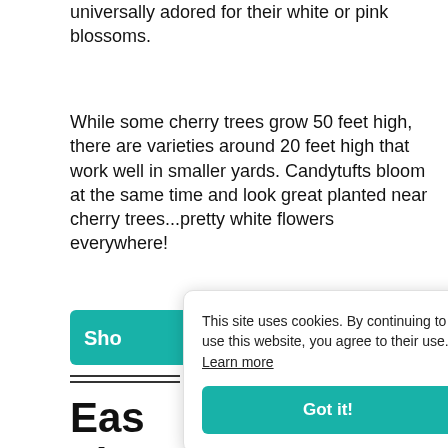universally adored for their white or pink blossoms.
While some cherry trees grow 50 feet high, there are varieties around 20 feet high that work well in smaller yards. Candytufts bloom at the same time and look great planted near cherry trees...pretty white flowers everywhere!
Sho
This site uses cookies. By continuing to use this website, you agree to their use. Learn more
Got it!
Eas Flowers